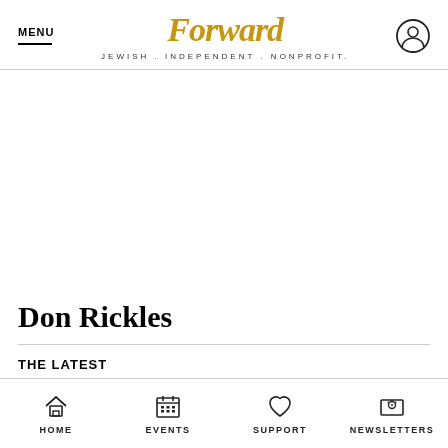MENU | Forward — JEWISH . INDEPENDENT . NONPROFIT.
Don Rickles
THE LATEST
HOME | EVENTS | SUPPORT | NEWSLETTERS